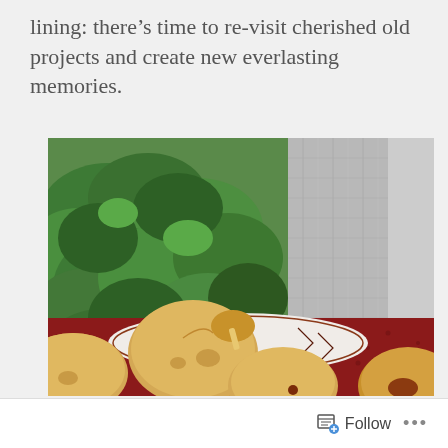lining: there’s time to re-visit cherished old projects and create new everlasting memories.
[Figure (photo): A close-up photo of golden-brown cookies or small biscuits on a decorative plate with a patterned cloth, set against a background of lush green foliage and a light grey linen curtain or fabric panel. The surface beneath the plate appears red.]
Follow ...